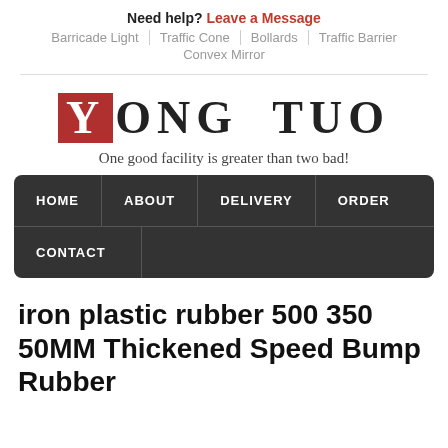Need help? Leave a Message
Barricade Light | Traffic Cone | Bollards | Traffic Barrier | Convex Mirror
[Figure (logo): YONG TUO logo with red Y in box followed by ONG TUO in serif uppercase letters]
One good facility is greater than two bad!
HOME  ABOUT  DELIVERY  ORDER  CONTACT
iron plastic rubber 500 350 50MM Thickened Speed Bump Rubber